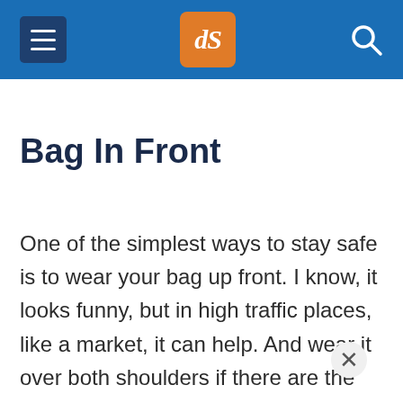dPS navigation header with hamburger menu, dPS logo, and search icon
Bag In Front
One of the simplest ways to stay safe is to wear your bag up front. I know, it looks funny, but in high traffic places, like a market, it can help. And wear it over both shoulders if there are the